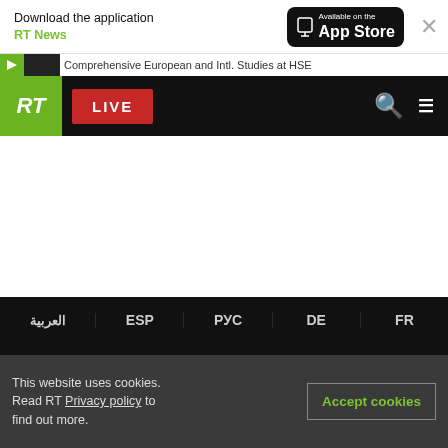Download the application RT News | Available on the App Store
Comprehensive European and Intl. Studies at HSE
[Figure (screenshot): RT news website navigation bar with green RT logo, red LIVE button, search and menu icons on black background]
العربية  ESP  РУС  DE  FR
[Figure (logo): ИНО TV logo and RUPTLY logo on black background]
[Figure (infographic): Social media icons row: Telegram, Twitter, VK, gab, Odnoklassniki, another social icon]
RT News App
This website uses cookies. Read RT Privacy policy to find out more.
Accept cookies